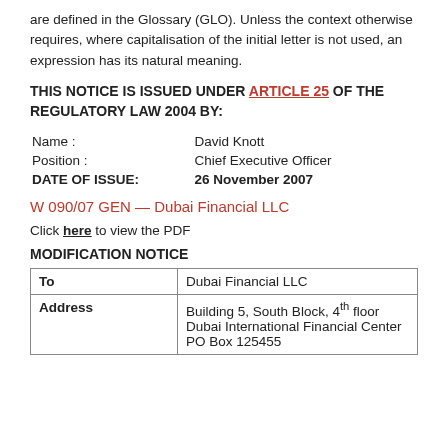are defined in the Glossary (GLO). Unless the context otherwise requires, where capitalisation of the initial letter is not used, an expression has its natural meaning.
THIS NOTICE IS ISSUED UNDER ARTICLE 25 OF THE REGULATORY LAW 2004 BY:
| Name : | David Knott |
| Position : | Chief Executive Officer |
| DATE OF ISSUE: | 26 November 2007 |
W 090/07 GEN — Dubai Financial LLC
Click here to view the PDF
MODIFICATION NOTICE
| To | Dubai Financial LLC |
| --- | --- |
| Address | Building 5, South Block, 4th floor
Dubai International Financial Center
PO Box 125455 |